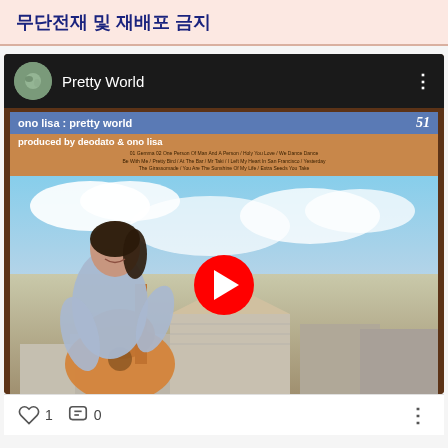무단전재 및 재배포 금지
[Figure (screenshot): YouTube video embed showing 'Pretty World' by Ono Lisa. The thumbnail shows an album cover with 'ono lisa : pretty world' text, produced by deodato & ono lisa, with a photo of a woman playing guitar outdoors. A red YouTube play button is overlaid in the center.]
1   0